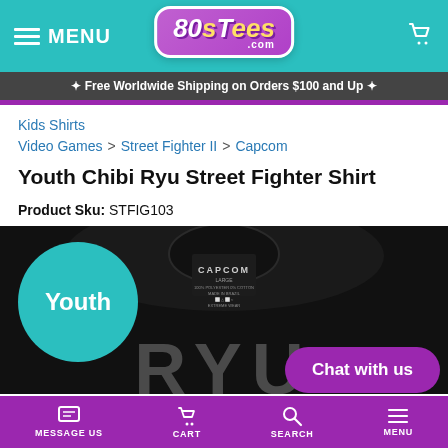MENU | 80sTees.com | Cart
✦ Free Worldwide Shipping on Orders $100 and Up ✦
Kids Shirts
Video Games > Street Fighter II > Capcom
Youth Chibi Ryu Street Fighter Shirt
Product Sku: STFIG103
[Figure (photo): Black youth t-shirt laid flat showing CAPCOM label at neck and RYU text on front. A teal circle badge with 'Youth' is overlaid on the left side.]
Chat with us
MESSAGE US | CART | SEARCH | MENU